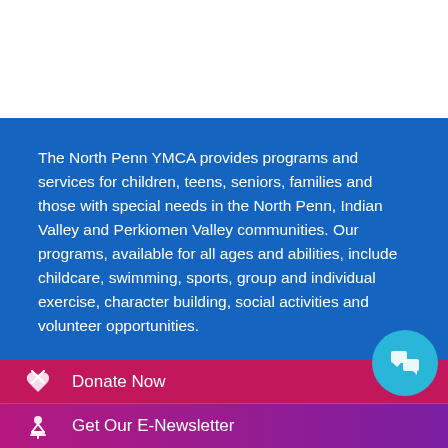The North Penn YMCA provides programs and services for children, teens, seniors, families and those with special needs in the North Penn, Indian Valley and Perkiomen Valley communities. Our programs, available for all ages and abilities, include childcare, swimming, sports, group and individual exercise, character building, social activities and volunteer opportunities.
Donate Now
Get Our E-Newsletter